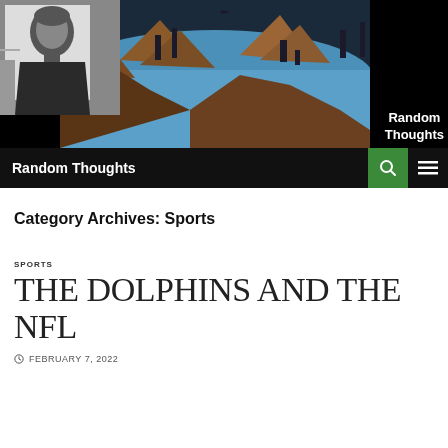[Figure (photo): Website header banner showing a composite of a grayscale comic-style portrait of a man on the left and an aerial landscape photo with rocky islands and blue water on the right, with 'Random Thoughts' text overlay on dark background]
Random Thoughts
Category Archives: Sports
SPORTS
THE DOLPHINS AND THE NFL
FEBRUARY 7, 2022